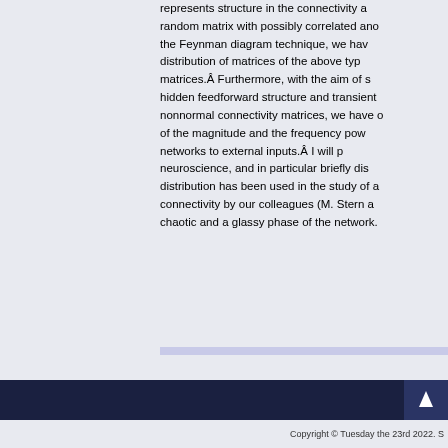represents structure in the connectivity a random matrix with possibly correlated ano the Feynman diagram technique, we hav distribution of matrices of the above typ matrices.Â Furthermore, with the aim of s hidden feedforward structure and transient nonnormal connectivity matrices, we have o of the magnitude and the frequency pow networks to external inputs.Â I will p neuroscience, and in particular briefly dis distribution has been used in the study of a connectivity by our colleagues (M. Stern a chaotic and a glassy phase of the network.
[Figure (logo): Three logos: a spiral/vortex icon, a globe/earth icon, and a Feynman diagram-style physics icon with wavy lines and vertices]
Copyright © Tuesday the 23rd 2022. S